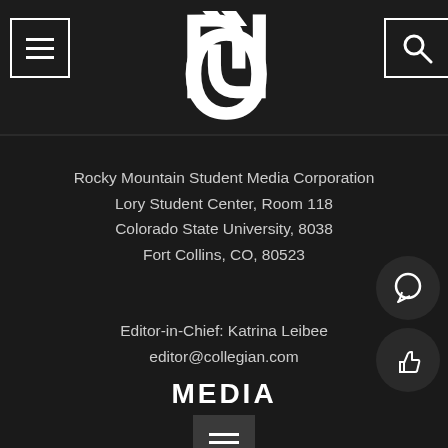[Figure (logo): The Collegian newspaper logo: large stylized C in white on dark background, with menu hamburger icon on top-left and search icon on top-right]
Rocky Mountain Student Media Corporation
Lory Student Center, Room 118
Colorado State University, 8038
Fort Collins, CO, 80523
Editor-in-Chief: Katrina Leibee
editor@collegian.com
MEDIA
[Figure (illustration): Hamburger menu icon in a dark box at bottom center, and two circular icon buttons on the right: chat/speech bubble and thumbs up]